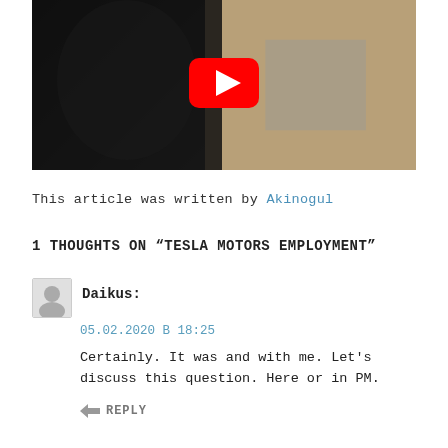[Figure (screenshot): Video thumbnail showing a composite image: on the left, a man with a sulking expression wearing a black shirt, on the right, a stressed man holding his head over a laptop at a desk. A large YouTube play button (red with white triangle) is centered over the image.]
This article was written by Akinogul
1 THOUGHTS ON "TESLA MOTORS EMPLOYMENT"
Daikus:
05.02.2020 В 18:25
Certainly. It was and with me. Let's discuss this question. Here or in PM.
REPLY